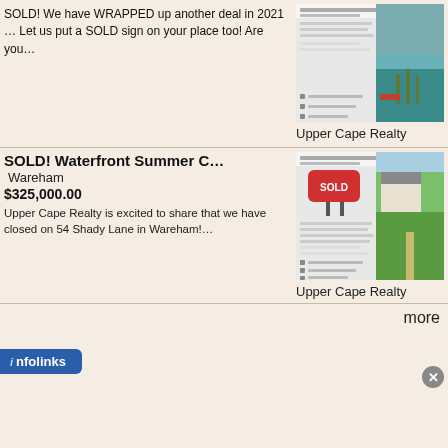SOLD! We have WRAPPED up another deal in 2021 … Let us put a SOLD sign on your place too! Are you…
[Figure (screenshot): Screenshot of Upper Cape Realty social media post about a sold waterfront cottage, with contact info and coastal photo]
Upper Cape Realty
SOLD! Waterfront Summer C…
Wareham
$325,000.00
Upper Cape Realty is excited to share that we have closed on 54 Shady Lane in Wareham!…
[Figure (screenshot): Screenshot of Upper Cape Realty social media post about 54 Shady Lane Wareham sale with SOLD sign and waterfront photo]
Upper Cape Realty
more
infolinks